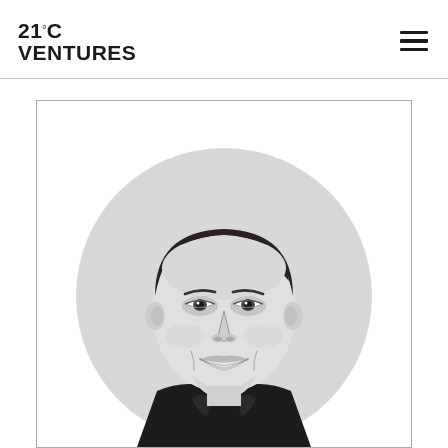21°C VENTURES
[Figure (photo): Black and white circular headshot portrait of a young man in a suit, smiling, with dark hair combed back, set against a light gray circular background within a white framed box.]